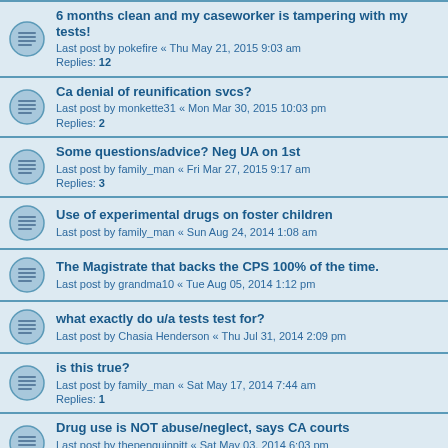6 months clean and my caseworker is tampering with my tests!
Last post by pokefire « Thu May 21, 2015 9:03 am
Replies: 12
Ca denial of reunification svcs?
Last post by monkette31 « Mon Mar 30, 2015 10:03 pm
Replies: 2
Some questions/advice? Neg UA on 1st
Last post by family_man « Fri Mar 27, 2015 9:17 am
Replies: 3
Use of experimental drugs on foster children
Last post by family_man « Sun Aug 24, 2014 1:08 am
The Magistrate that backs the CPS 100% of the time.
Last post by grandma10 « Tue Aug 05, 2014 1:12 pm
what exactly do u/a tests test for?
Last post by Chasia Henderson « Thu Jul 31, 2014 2:09 pm
is this true?
Last post by family_man « Sat May 17, 2014 7:44 am
Replies: 1
Drug use is NOT abuse/neglect, says CA courts
Last post by thepenguinpitt « Sat May 03, 2014 6:03 pm
Replies: 5
being accused a second time
Last post by thepenguinpitt « Sat Mar 29, 2014 6:29 pm
Replies: 2
Ranitine (Zantac) causes false positive for methamphetimines
Last post by messyjessy « Fri Feb 14, 2014 9:01 am
Replies: 7